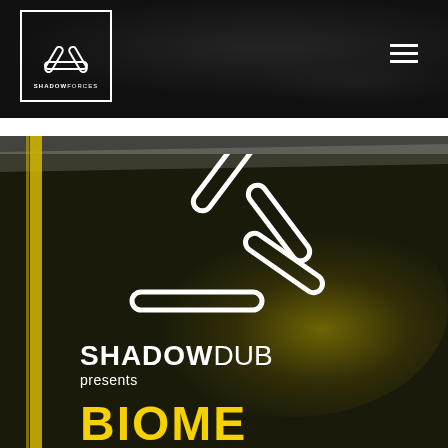[Figure (logo): Shadow Forces website header with black textured background, Shadow Forces logo in white outline box on left, hamburger menu icon on right]
[Figure (illustration): Shadow Dub promotional image on dark olive/black textured background with yellow-green glow, large white abstract triangle logo marks, text 'SHADOWDUB presents BIOME' with yellow BIOME text at bottom, yellow vertical stripe on left edge]